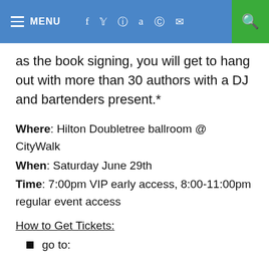MENU | social icons | search
as the book signing, you will get to hang out with more than 30 authors with a DJ and bartenders present.*
Where: Hilton Doubletree ballroom @ CityWalk
When: Saturday June 29th
Time: 7:00pm VIP early access, 8:00-11:00pm regular event access
How to Get Tickets:
go to: